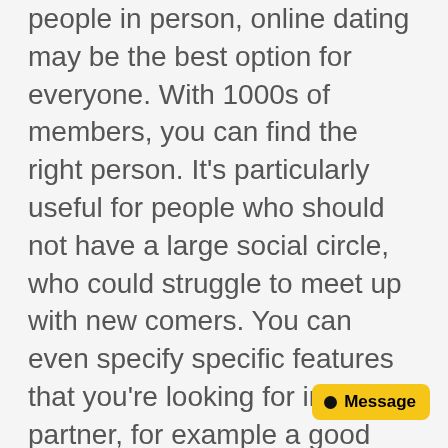people in person, online dating may be the best option for everyone. With 1000s of members, you can find the right person. It's particularly useful for people who should not have a large social circle, who could struggle to meet up with new comers. You can even specify specific features that you're looking for in a partner, for example a good attitude and strong sense of hilarity.
Online dating sites usually are not without dangers. While a potential partner may be a fantastic match, the person might not be right for you. In addition to being unconfident and vulnerable and open, online dating can also be dangerous. Various people satisfy their partners through websites that are not honest and are not suitable. You have to be careful when using these sites, but it is certai[nly] worth it in the end. You hardly ever know who